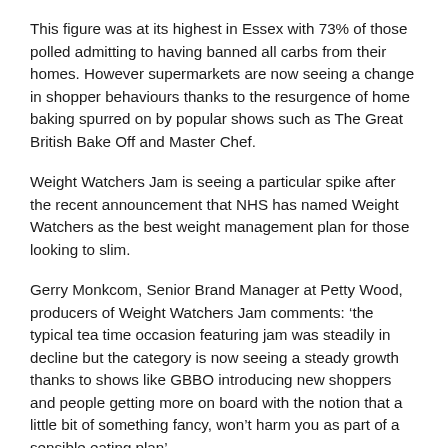This figure was at its highest in Essex with 73% of those polled admitting to having banned all carbs from their homes. However supermarkets are now seeing a change in shopper behaviours thanks to the resurgence of home baking spurred on by popular shows such as The Great British Bake Off and Master Chef.
Weight Watchers Jam is seeing a particular spike after the recent announcement that NHS has named Weight Watchers as the best weight management plan for those looking to slim.
Gerry Monkcom, Senior Brand Manager at Petty Wood, producers of Weight Watchers Jam comments: ‘the typical tea time occasion featuring jam was steadily in decline but the category is now seeing a steady growth thanks to shows like GBBO introducing new shoppers and people getting more on board with the notion that a little bit of something fancy, won’t harm you as part of a sensible eating plan’.